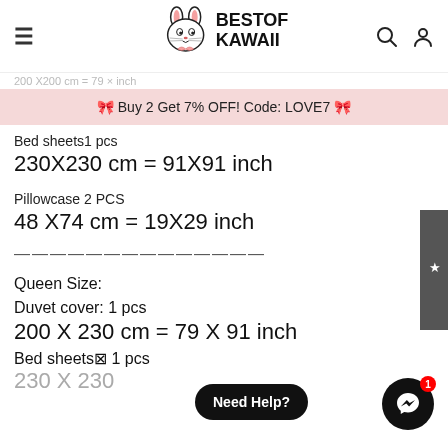BESTOF KAWAII — navigation header with logo, hamburger menu, search and account icons
200 X 200 cm = 79 × inch (partial breadcrumb/title, cropped)
🎀 Buy 2 Get 7% OFF! Code: LOVE7 🎀
Bed sheets1 pcs
230X230 cm = 91X91 inch
Pillowcase 2 PCS
48 X74 cm = 19X29 inch
——————————————
Queen Size:
Duvet cover: 1 pcs
200 X 230 cm = 79 X 91 inch
Bed sheets⊠ 1 pcs
230 X 230 = 91 X 91 inch (partial, cropped)